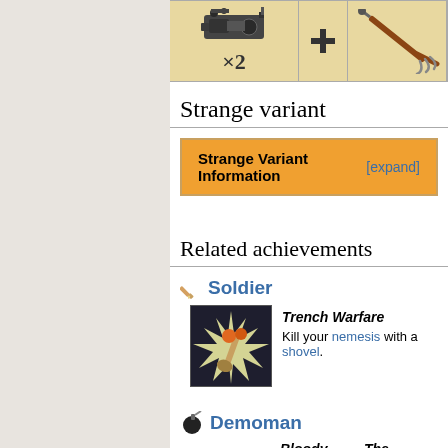[Figure (illustration): Top strip showing game items: a dark mechanical item with x2 label, a plus/cross icon, and a claw/hook weapon]
Strange variant
Strange Variant Information [expand]
Related achievements
Soldier
[Figure (illustration): Trench Warfare achievement icon showing shovel hitting someone with star burst effect]
Trench Warfare
Kill your nemesis with a shovel.
Demoman
Bloody Merry
Provide
The Scottish Play